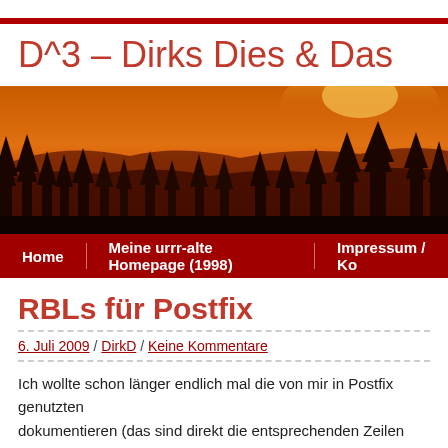D^3 – Dirks Dies & Das
[Figure (photo): Panoramic sunset photo showing silhouettes of pine trees and hills against an orange-red sky]
Home | Meine urrr-alte Homepage (1998) | Impressum / Ko
RBLs für Postfix
6. Juli 2009 / DirkD / Keine Kommentare
Ich wollte schon länger endlich mal die von mir in Postfix genutzten dokumentieren (das sind direkt die entsprechenden Zeilen aus der